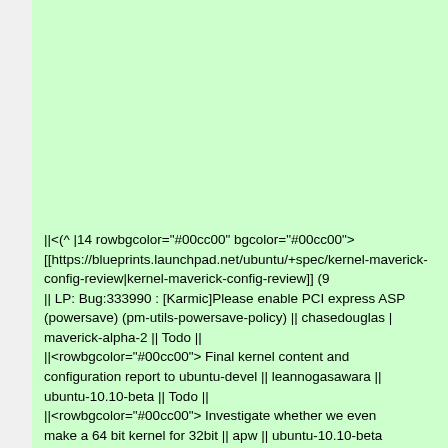||<(^ |14 rowbgcolor="#00cc00" bgcolor="#00cc00"> [[https://blueprints.launchpad.net/ubuntu/+spec/kernel-maverick-config-review|kernel-maverick-config-review]] (9 || LP: Bug:333990 : [Karmic]Please enable PCI express ASP (powersave) (pm-utils-powersave-policy) || chasedouglas | maverick-alpha-2 || Todo || ||<rowbgcolor="#00cc00"> Final kernel content and configuration report to ubuntu-devel || leannogasawara || ubuntu-10.10-beta || Todo || ||<rowbgcolor="#00cc00"> Investigate whether we even make a 64 bit kernel for 32bit || apw || ubuntu-10.10-beta || ||<rowbgcolor="#00cc00"> Investigate updating to debia || apw || ubuntu-10.10-beta || Todo ||